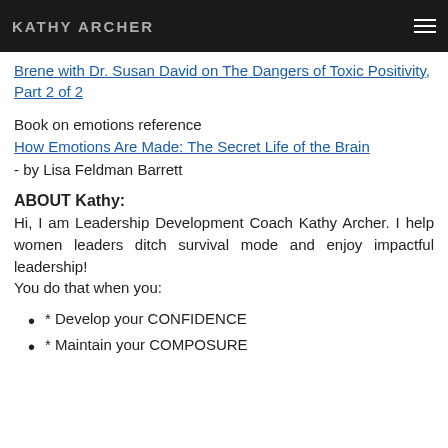KATHY ARCHER
Brene with Dr. Susan David on The Dangers of Toxic Positivity, Part 2 of 2
Book on emotions reference
How Emotions Are Made: The Secret Life of the Brain
- by Lisa Feldman Barrett
ABOUT Kathy:
Hi, I am Leadership Development Coach Kathy Archer. I help women leaders ditch survival mode and enjoy impactful leadership!
You do that when you:
* Develop your CONFIDENCE
* Maintain your COMPOSURE